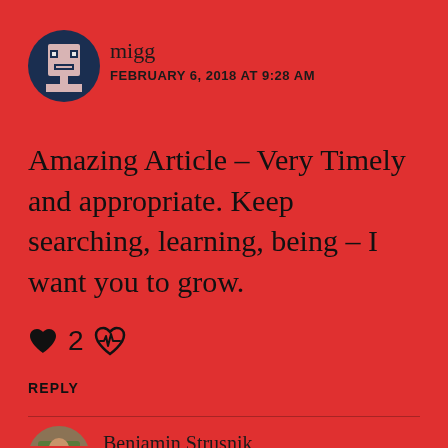[Figure (illustration): Pixel art avatar icon in a dark blue circle, showing a white/pink pixelated character face]
migg
FEBRUARY 6, 2018 AT 9:28 AM
Amazing Article – Very Timely and appropriate. Keep searching, learning, being – I want you to grow.
♥ 2 💗
REPLY
[Figure (photo): Photo of Benjamin Strusnik partially visible at bottom of page]